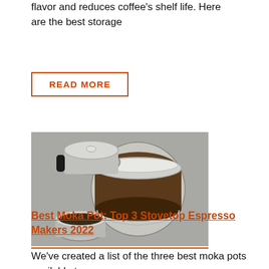flavor and reduces coffee's shelf life. Here are the best storage
READ MORE
[Figure (photo): Overhead view of coffee storage containers on a metallic surface: a moka pot bottom chamber, a swing-top glass jar filled with ground coffee, and a small open metal canister.]
Best Moka Pot: Top 3 Stovetop Espresso Makers 2022
We've created a list of the three best moka pots available to